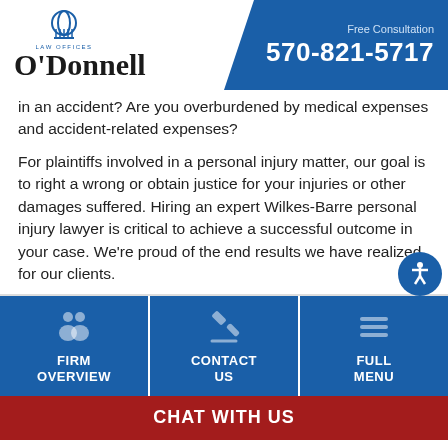[Figure (logo): O'Donnell Law Offices logo with dome/building icon and bold serif text]
Free Consultation
570-821-5717
in an accident? Are you overburdened by medical expenses and accident-related expenses?
For plaintiffs involved in a personal injury matter, our goal is to right a wrong or obtain justice for your injuries or other damages suffered. Hiring an expert Wilkes-Barre personal injury lawyer is critical to achieve a successful outcome in your case. We're proud of the end results we have realized for our clients.
[Figure (infographic): Three navigation buttons: FIRM OVERVIEW (people icon), CONTACT US (gavel icon), FULL MENU (hamburger menu icon), all on blue background]
CHAT WITH US